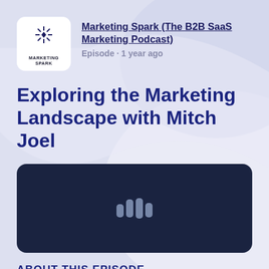[Figure (logo): Marketing Spark podcast logo: white rounded square with a starburst/spark icon and text MARKETING SPARK below it]
Marketing Spark (The B2B SaaS Marketing Podcast)
Episode · 1 year ago
Exploring the Marketing Landscape with Mitch Joel
[Figure (other): Dark navy podcast audio player box with a waveform/audio bars icon in the center]
ABOUT THIS EPISODE